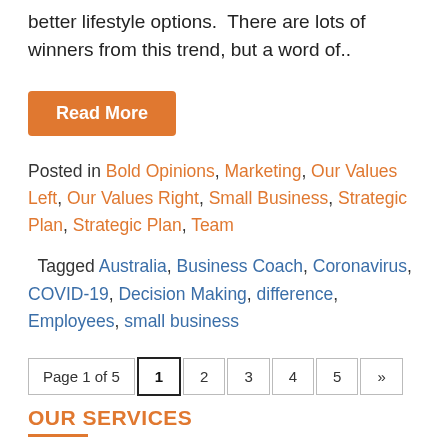better lifestyle options.  There are lots of winners from this trend, but a word of..
Read More
Posted in Bold Opinions, Marketing, Our Values Left, Our Values Right, Small Business, Strategic Plan, Strategic Plan, Team
Tagged Australia, Business Coach, Coronavirus, COVID-19, Decision Making, difference, Employees, small business
Page 1 of 5  1  2  3  4  5  »
OUR SERVICES
Accountable (Tax and accounting)
Business Development